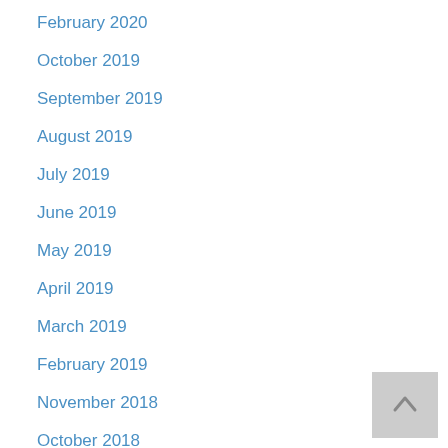February 2020
October 2019
September 2019
August 2019
July 2019
June 2019
May 2019
April 2019
March 2019
February 2019
November 2018
October 2018
September 2018
August 2018
July 2018
May 2018
April 2018